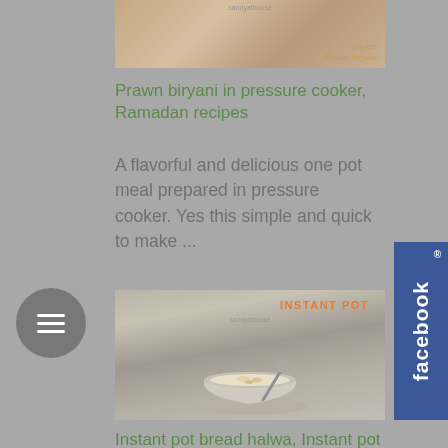[Figure (photo): Partially visible food photo at top - Prawn biryani in pressure cooker with text overlay]
Prawn biryani in pressure cooker, Ramadan recipes
A flavorful and delicious one pot meal prepared in pressure cooker. Yes this simple and quick to make ...
[Figure (photo): Instant Pot food photo showing a steel bowl with cooked food and spoon, labeled INSTANT POT]
Instant pot bread halwa, Instant pot